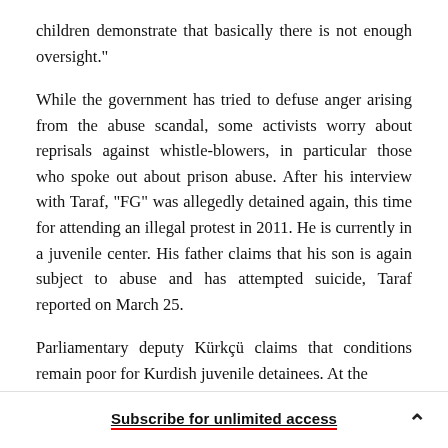children demonstrate that basically there is not enough oversight."
While the government has tried to defuse anger arising from the abuse scandal, some activists worry about reprisals against whistle-blowers, in particular those who spoke out about prison abuse. After his interview with Taraf, "FG" was allegedly detained again, this time for attending an illegal protest in 2011. He is currently in a juvenile center. His father claims that his son is again subject to abuse and has attempted suicide, Taraf reported on March 25.
Parliamentary deputy Kürkçü claims that conditions remain poor for Kurdish juvenile detainees. At the
Subscribe for unlimited access